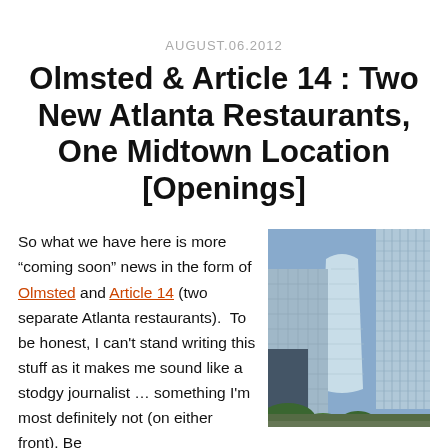AUGUST.06.2012
Olmsted & Article 14 : Two New Atlanta Restaurants, One Midtown Location [Openings]
So what we have here is more “coming soon” news in the form of Olmsted and Article 14 (two separate Atlanta restaurants).  To be honest, I can’t stand writing this stuff as it makes me sound like a stodgy journalist … something I’m most definitely not (on either front). Be
[Figure (photo): Photo of Atlanta midtown skyscrapers viewed from below against a blue sky with trees in foreground]